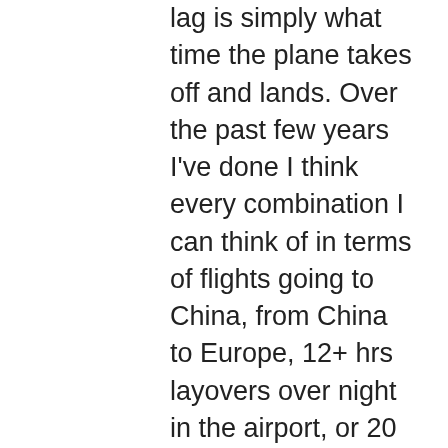lag is simply what time the plane takes off and lands. Over the past few years I've done I think every combination I can think of in terms of flights going to China, from China to Europe, 12+ hrs layovers over night in the airport, or 20 hr layovers in Iceland, planes leaving first thing at 5am or landing at 2am or whatever it is I've done it, and for some reason this flight from Palm Springs to San Fran to Toronto turned me into a Zombie for two days. We landed at 8am EST (5am for me on West Coast time) and because of that (mixed with me being just unable to sleep whatsoever on planes) the day just felt like it lasted forever. I kept checking my watch over and over